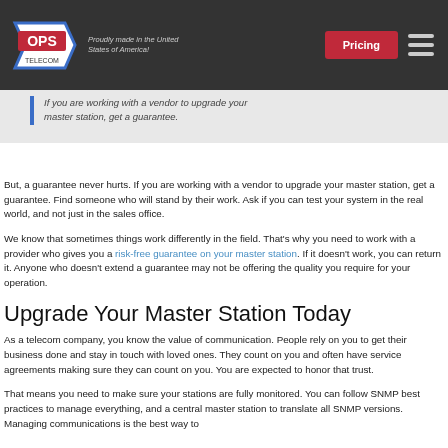OPS TELECOM — Proudly made in the United States of America! | Pricing
If you are working with a vendor to upgrade your master station, get a guarantee.
But, a guarantee never hurts. If you are working with a vendor to upgrade your master station, get a guarantee. Find someone who will stand by their work. Ask if you can test your system in the real world, and not just in the sales office.
We know that sometimes things work differently in the field. That's why you need to work with a provider who gives you a risk-free guarantee on your master station. If it doesn't work, you can return it. Anyone who doesn't extend a guarantee may not be offering the quality you require for your operation.
Upgrade Your Master Station Today
As a telecom company, you know the value of communication. People rely on you to get their business done and stay in touch with loved ones. They count on you and often have service agreements making sure they can count on you. You are expected to honor that trust.
That means you need to make sure your stations are fully monitored. You can follow SNMP best practices to manage everything, and a central master station to translate all SNMP versions. Managing communications is the best way to